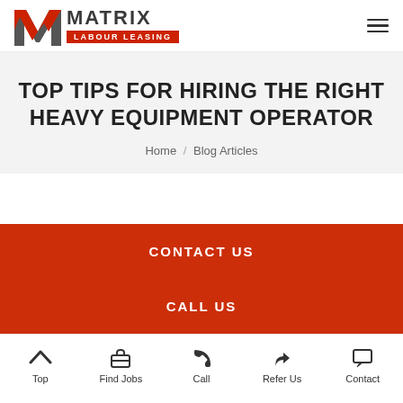Matrix Labour Leasing
TOP TIPS FOR HIRING THE RIGHT HEAVY EQUIPMENT OPERATOR
Home / Blog Articles
CONTACT US
CALL US
Top | Find Jobs | Call | Refer Us | Contact